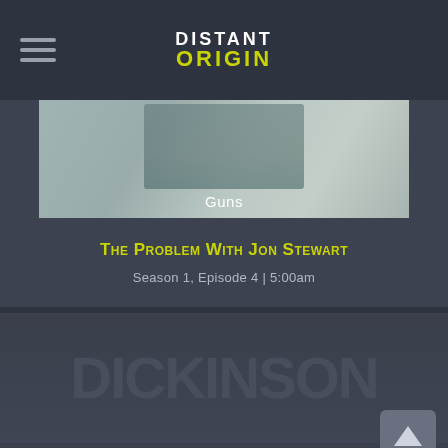DISTANT ORIGIN
[Figure (photo): Image of a person sitting with hands clasped, cracks in background, labeled 'Guns']
The Problem With Jon Stewart
Season 1, Episode 4  |  5:00am
[Figure (screenshot): Blurred/watermarked background image for Dickinson show, with text 'This is my letter to the World']
This is my letter to the World
Dickinson